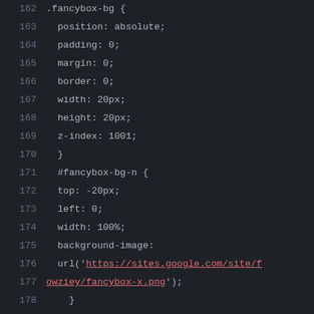[Figure (screenshot): Code editor screenshot showing CSS code lines 162-188, dark theme with line numbers on left, CSS selectors and properties in light gray, URLs in pink/red with underline]